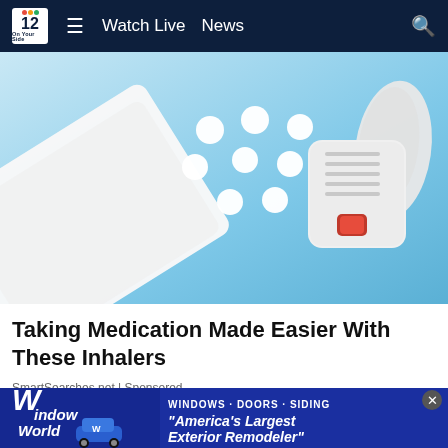12  ≡  Watch Live  News
[Figure (photo): Medical items on blue background: white face mask, white pills/tablets scattered, and a white nebulizer/inhaler device with red button and mask attachment]
Taking Medication Made Easier With These Inhalers
SmartSearches.net | Sponsored
[Figure (photo): Window World advertisement banner: logo with stylized W, cartoon blue car, text 'WINDOWS • DOORS • SIDING' and 'America's Largest Exterior Remodeler']